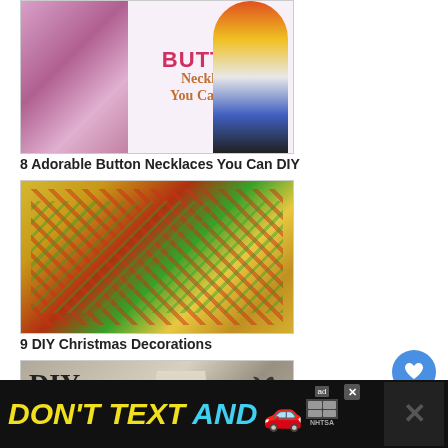[Figure (photo): Button necklaces DIY craft article image showing colorful button necklaces and text 'BUTTON Necklaces You Can DIY']
8 Adorable Button Necklaces You Can DIY
[Figure (photo): Colorful Christmas cookies with red and green icing decorations]
9 DIY Christmas Decorations
[Figure (photo): DIY Bad Bat Bracelet made with polymer clay, showing black bat design on white cone form]
10 Last Minute Halloween Craft Ideas
[Figure (photo): Handmade craft article image showing red and white design with 'HANDMADE' text]
[Figure (infographic): WHAT'S NEXT section showing nail polish seashells thumbnail]
[Figure (photo): DON'T TEXT AND DRIVE advertisement banner with NHTSA logo, showing car emoji]